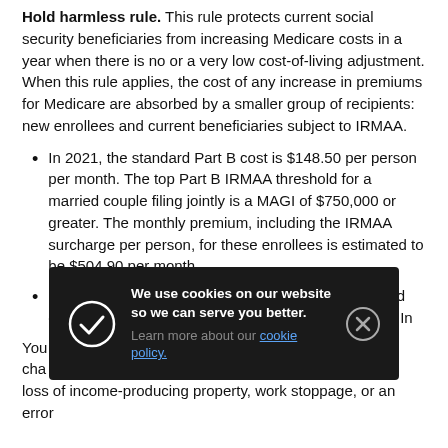Hold harmless rule. This rule protects current social security beneficiaries from increasing Medicare costs in a year when there is no or a very low cost-of-living adjustment. When this rule applies, the cost of any increase in premiums for Medicare are absorbed by a smaller group of recipients: new enrollees and current beneficiaries subject to IRMAA.
In 2021, the standard Part B cost is $148.50 per person per month. The top Part B IRMAA threshold for a married couple filing jointly is a MAGI of $750,000 or greater. The monthly premium, including the IRMAA surcharge per person, for these enrollees is estimated to be $504.90 per month.
In 2021, the top Part D IRMAA threshold for a married couple filing jointly is a MAGI of $750,000 or greater. In...
You... cha... n, loss of income-producing property, work stoppage, or an error